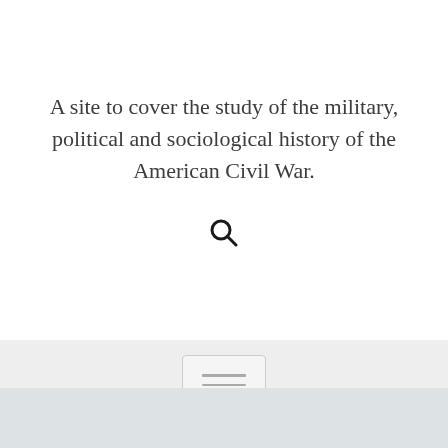A site to cover the study of the military, political and sociological history of the American Civil War.
[Figure (other): Search icon (magnifying glass)]
[Figure (other): Hamburger menu button with three horizontal lines inside a rounded rectangle]